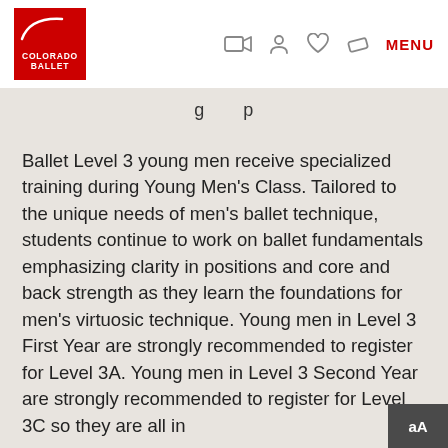[Figure (logo): Colorado Ballet logo — red square with white swoosh and text COLORADO BALLET]
MENU
g   p
Ballet Level 3 young men receive specialized training during Young Men's Class. Tailored to the unique needs of men's ballet technique, students continue to work on ballet fundamentals emphasizing clarity in positions and core and back strength as they learn the foundations for men's virtuosic technique. Young men in Level 3 First Year are strongly recommended to register for Level 3A. Young men in Level 3 Second Year are strongly recommended to register for Level 3C so they are all in